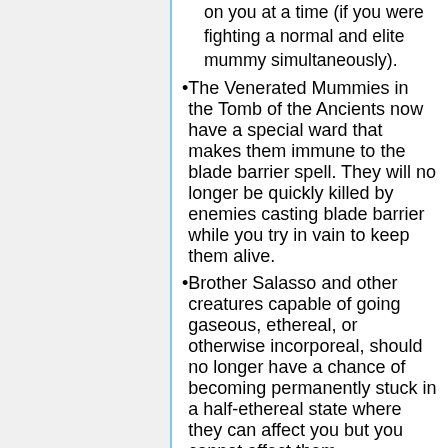on you at a time (if you were fighting a normal and elite mummy simultaneously).
The Venerated Mummies in the Tomb of the Ancients now have a special ward that makes them immune to the blade barrier spell. They will no longer be quickly killed by enemies casting blade barrier while you try in vain to keep them alive.
Brother Salasso and other creatures capable of going gaseous, ethereal, or otherwise incorporeal, should no longer have a chance of becoming permanently stuck in a half-ethereal state where they can affect you but you cannot affect them.
Adran ir'Karsmore relies less on natural AC and more on his clerical